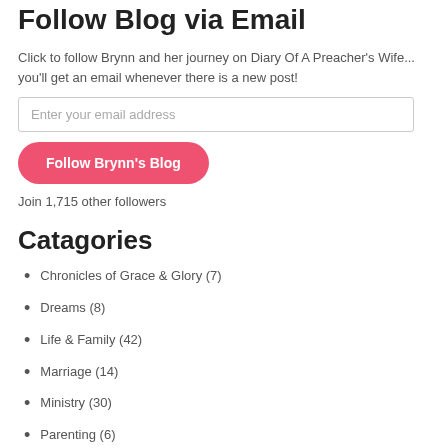Follow Blog via Email
Click to follow Brynn and her journey on Diary Of A Preacher's Wife... you'll get an email whenever there is a new post!
Enter your email address
Follow Brynn's Blog
Join 1,715 other followers
Catagories
Chronicles of Grace & Glory (7)
Dreams (8)
Life & Family (42)
Marriage (14)
Ministry (30)
Parenting (6)
Prophetic (10)